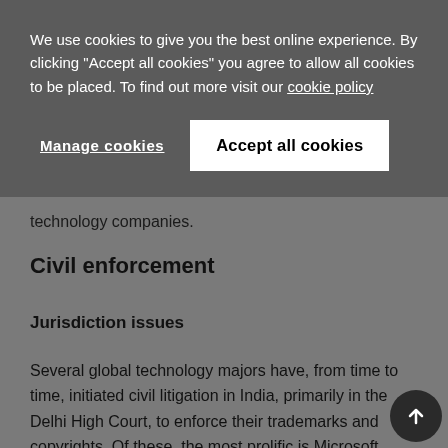We use cookies to give you the best online experience. By clicking "Accept all cookies" you agree to allow all cookies to be placed. To find out more visit our cookie policy
Manage cookies
Accept all cookies
technology companies.
Civil enforcement
Jurisdiction issues
Several global technology majors have, from time to time, initiated civil litigation in India, primarily in the Delhi High Court, to enforce their trademarks and copyrights. Of these, the most prolific is Microsoft Corporation.